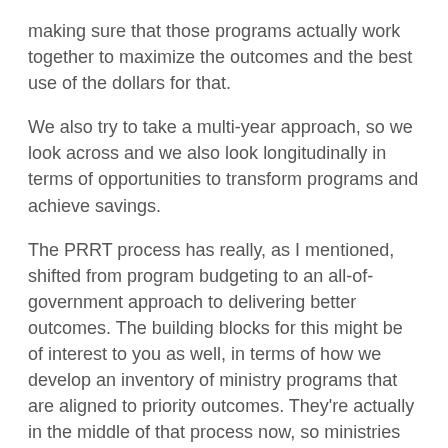making sure that those programs actually work together to maximize the outcomes and the best use of the dollars for that.
We also try to take a multi-year approach, so we look across and we also look longitudinally in terms of opportunities to transform programs and achieve savings.
The PRRT process has really, as I mentioned, shifted from program budgeting to an all-of-government approach to delivering better outcomes. The building blocks for this might be of interest to you as well, in terms of how we develop an inventory of ministry programs that are aligned to priority outcomes. They're actually in the middle of that process now, so ministries are actually building their program inventories and telling us about the kinds of outcomes and how they're going to apply resources to those outcomes.
The minister also talked this morning about establishing